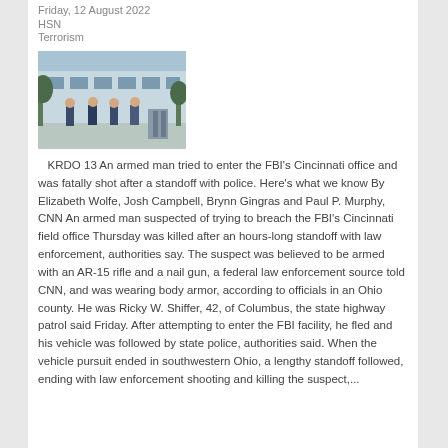Friday, 12 August 2022
HSN
Terrorism
[Figure (photo): Law enforcement officers standing outside a building, appearing to be in tactical gear near the FBI Cincinnati field office]
KRDO 13 An armed man tried to enter the FBI's Cincinnati office and was fatally shot after a standoff with police. Here's what we know By Elizabeth Wolfe, Josh Campbell, Brynn Gingras and Paul P. Murphy, CNN An armed man suspected of trying to breach the FBI's Cincinnati field office Thursday was killed after an hours-long standoff with law enforcement, authorities say. The suspect was believed to be armed with an AR-15 rifle and a nail gun, a federal law enforcement source told CNN, and was wearing body armor, according to officials in an Ohio county. He was Ricky W. Shiffer, 42, of Columbus, the state highway patrol said Friday. After attempting to enter the FBI facility, he fled and his vehicle was followed by state police, authorities said. When the vehicle pursuit ended in southwestern Ohio, a lengthy standoff followed, ending with law enforcement shooting and killing the suspect,...